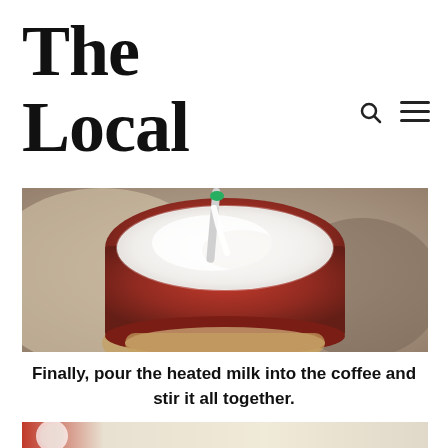The Local
[Figure (photo): A red ceramic mug filled with white frothed milk being stirred with a spoon, held by a hand, with a soft blurred background.]
Finally, pour the heated milk into the coffee and stir it all together.
[Figure (photo): Bottom portion of another food/drink photo, partially visible.]